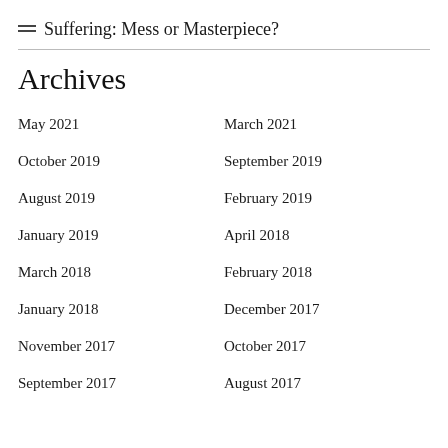Suffering: Mess or Masterpiece?
Archives
May 2021
March 2021
October 2019
September 2019
August 2019
February 2019
January 2019
April 2018
March 2018
February 2018
January 2018
December 2017
November 2017
October 2017
September 2017
August 2017